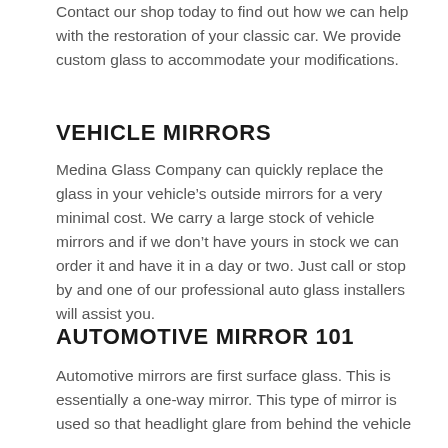Contact our shop today to find out how we can help with the restoration of your classic car. We provide custom glass to accommodate your modifications.
VEHICLE MIRRORS
Medina Glass Company can quickly replace the glass in your vehicle’s outside mirrors for a very minimal cost. We carry a large stock of vehicle mirrors and if we don’t have yours in stock we can order it and have it in a day or two. Just call or stop by and one of our professional auto glass installers will assist you.
AUTOMOTIVE MIRROR 101
Automotive mirrors are first surface glass. This is essentially a one-way mirror. This type of mirror is used so that headlight glare from behind the vehicle